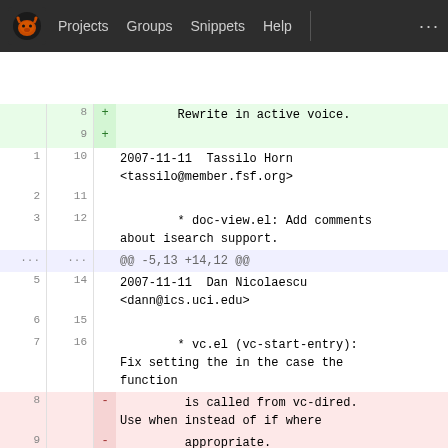Projects  Groups  Snippets  Help  ...
8  +        Rewrite in active voice.
9  +
1  10  2007-11-11  Tassilo Horn <tassilo@member.fsf.org>
2  11
3  12        * doc-view.el: Add comments about isearch support.
...  ...  @@ -5,13 +14,12 @@
5  14  2007-11-11  Dan Nicolaescu <dann@ics.uci.edu>
6  15
7  16        * vc.el (vc-start-entry): Fix setting the in the case the function
8     -         is called from vc-dired. Use when instead of if where
9     -         appropriate.
   17  +         is called from vc-dired. Use when instead of if where appropriate.